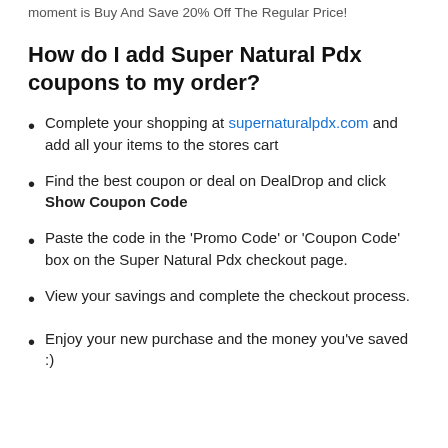moment is Buy And Save 20% Off The Regular Price!
How do I add Super Natural Pdx coupons to my order?
Complete your shopping at supernaturalpdx.com and add all your items to the stores cart
Find the best coupon or deal on DealDrop and click Show Coupon Code
Paste the code in the 'Promo Code' or 'Coupon Code' box on the Super Natural Pdx checkout page.
View your savings and complete the checkout process.
Enjoy your new purchase and the money you've saved :)